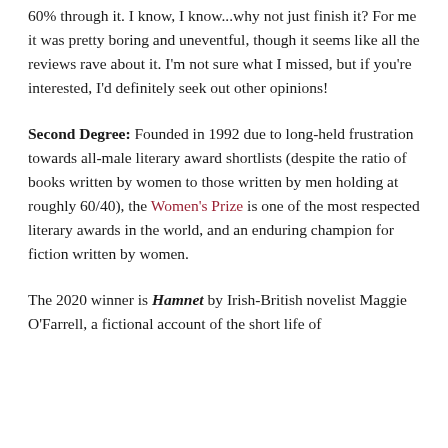60% through it. I know, I know...why not just finish it? For me it was pretty boring and uneventful, though it seems like all the reviews rave about it. I'm not sure what I missed, but if you're interested, I'd definitely seek out other opinions!
Second Degree: Founded in 1992 due to long-held frustration towards all-male literary award shortlists (despite the ratio of books written by women to those written by men holding at roughly 60/40), the Women's Prize is one of the most respected literary awards in the world, and an enduring champion for fiction written by women.
The 2020 winner is Hamnet by Irish-British novelist Maggie O'Farrell, a fictional account of the short life of